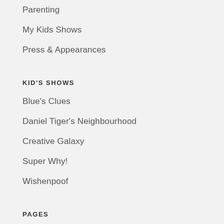Parenting
My Kids Shows
Press & Appearances
KID'S SHOWS
Blue's Clues
Daniel Tiger's Neighbourhood
Creative Galaxy
Super Why!
Wishenpoof
PAGES
About
Speaking